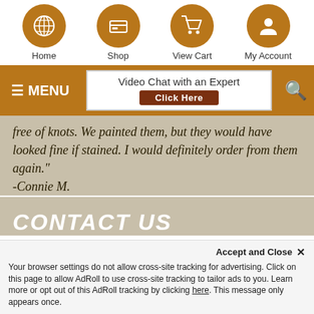Home | Shop | View Cart | My Account
[Figure (screenshot): Navigation menu bar with MENU button and Video Chat with an Expert widget with Click Here button]
free of knots. We painted them, but they would have looked fine if stained. I would definitely order from them again." -Connie M.
CONTACT US
1-877-929-2750
Office Hours :
Monday - Friday ( 9AM - 5PM EST )
Customer Service : 1-888-258-3109
Accept and Close ×
Your browser settings do not allow cross-site tracking for advertising. Click on this page to allow AdRoll to use cross-site tracking to tailor ads to you. Learn more or opt out of this AdRoll tracking by clicking here. This message only appears once.